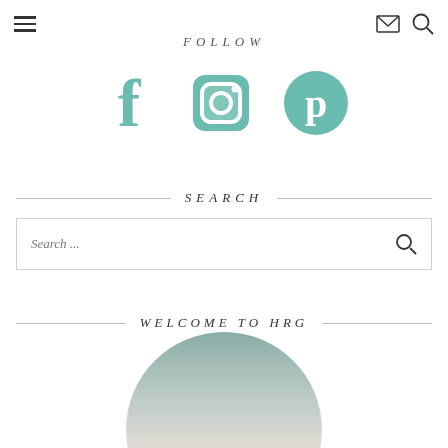Navigation bar with hamburger menu, email icon, and search icon
FOLLOW
[Figure (infographic): Three social media icons in teal/green color: Facebook (f), Instagram (camera), Pinterest (P)]
SEARCH
Search ...
WELCOME TO HRG
[Figure (photo): Circular cropped photo showing a person, partially visible at the bottom of the page]